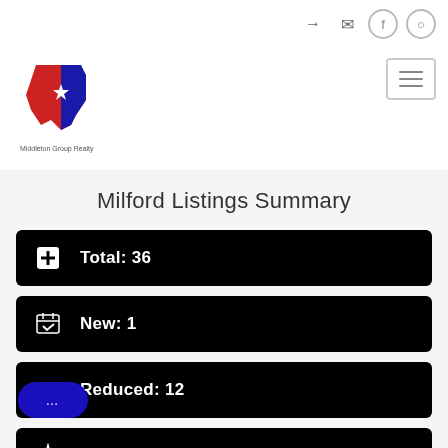[Figure (logo): Middleton Group Realty logo - Texas state shape in red and blue with a star, with company name below]
Milford Listings Summary
Total: 36
New: 1
Reduced: 12
Open House: 0